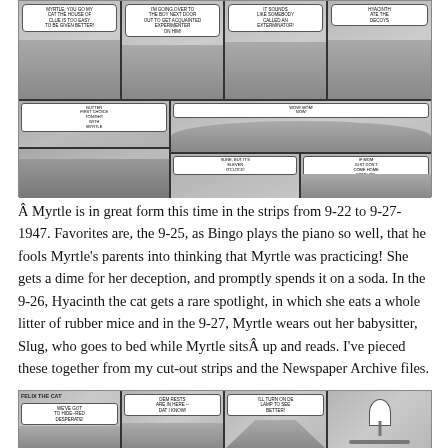[Figure (illustration): Black and white comic strips showing Myrtle characters across two rows. Top row has 4 panels showing characters with speech bubbles, bottom portion shows additional panels with dining/bedroom scenes.]
Â Myrtle is in great form this time in the strips from 9-22 to 9-27-1947. Favorites are, the 9-25, as Bingo plays the piano so well, that he fools Myrtle's parents into thinking that Myrtle was practicing! She gets a dime for her deception, and promptly spends it on a soda. In the 9-26, Hyacinth the cat gets a rare spotlight, in which she eats a whole litter of rubber mice and in the 9-27, Myrtle wears out her babysitter, Slug, who goes to bed while Myrtle sitsÂ up and reads. I've pieced these together from my cut-out strips and the Newspaper Archive files.
[Figure (illustration): Bottom comic strip showing Felix the Cat panels with speech bubbles reading: WE'VE GOT TO HIDE--RED DESPERATE!, DEM RESTS ARE IN HERE -- DAT I KNOW!, I'LL TURN ON DE LAMP TO SEE BETTER!, and a fourth panel with a lamp.]